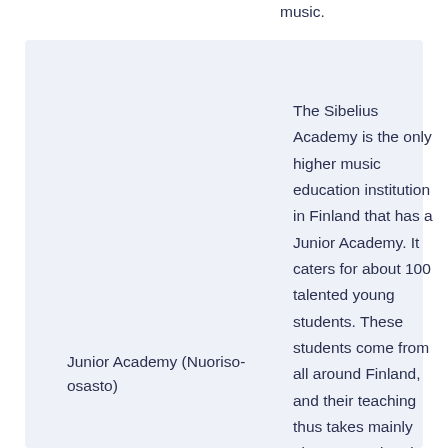music.
Junior Academy (Nuoriso-osasto)
The Sibelius Academy is the only higher music education institution in Finland that has a Junior Academy. It caters for about 100 talented young students. These students come from all around Finland, and their teaching thus takes mainly place at weekends.